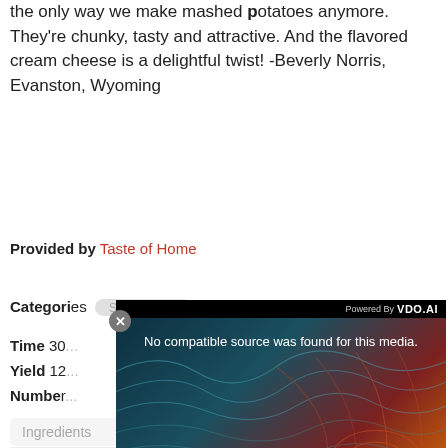the only way we make mashed potatoes anymore. They're chunky, tasty and attractive. And the flavored cream cheese is a delightful twist! -Beverly Norris, Evanston, Wyoming
Provided by Taste of Home
Categories: Side Dishes
Time 30...
Yield 12...
Number...
[Figure (screenshot): Video player overlay showing 'No compatible source was found for this media.' with HEA X logo branding and VDO.AI attribution, on a dark teal-to-red-orange gradient background with topographic line art]
Ingred...
4 poun...